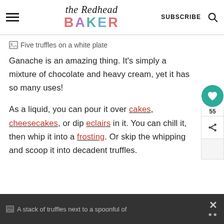the Redhead BAKER | SUBSCRIBE
[Figure (illustration): Broken image placeholder with alt text: Five truffles on a white plate]
Ganache is an amazing thing. It's simply a mixture of chocolate and heavy cream, yet it has so many uses!
As a liquid, you can pour it over cakes, cheesecakes, or dip eclairs in it. You can chill it, then whip it into a frosting. Or skip the whipping and scoop it into decadent truffles.
[Figure (illustration): Broken image placeholder with alt text: A stack of truffles next to a spoonful of]
A stack of truffles next to a spoonful of